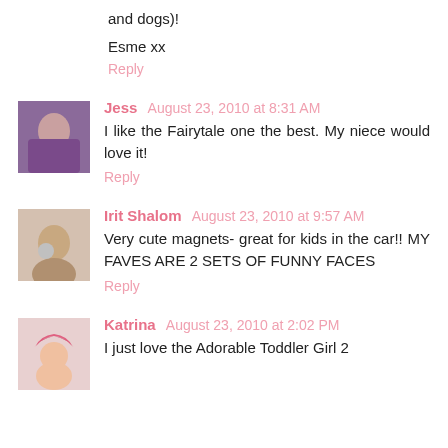and dogs)!
Esme xx
Reply
[Figure (photo): Avatar photo of Jess]
Jess August 23, 2010 at 8:31 AM
I like the Fairytale one the best. My niece would love it!
Reply
[Figure (photo): Avatar photo of Irit Shalom]
Irit Shalom August 23, 2010 at 9:57 AM
Very cute magnets- great for kids in the car!! MY FAVES ARE 2 SETS OF FUNNY FACES
Reply
[Figure (photo): Avatar photo of Katrina]
Katrina August 23, 2010 at 2:02 PM
I just love the Adorable Toddler Girl 2